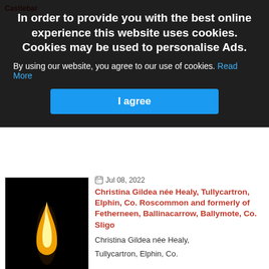In order to provide you with the best online experience this website uses cookies. Cookies may be used to personalise Ads.
By using our website, you agree to our use of cookies. Read More
I agree
[Figure (photo): A candle flame against a dark/black background]
Jul 08, 2022
Christina Gildea née Healy, Tullycartron, Elphin, Co. Roscommon and formerly of Fetherneen, Ballinacarrow, Ballymote, Co. Sligo
Christina Gildea née Healy,
Tullycartron, Elphin, Co.
Roscommon and formerly of...
Jul 08, 2022
Seamus Healy, Ballinaboy, Barnatra, Ballina, Co. Mayo
Seamus Healy,
Ballinaboy, Barnatra, Ballina...